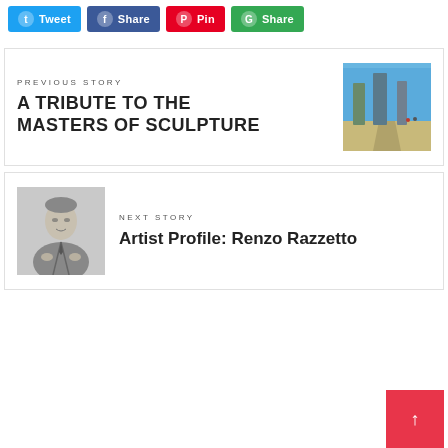Tweet | Share | Pin | Share
PREVIOUS STORY
A TRIBUTE TO THE MASTERS OF SCULPTURE
[Figure (photo): Outdoor sculpture park with tall cylindrical towers and a pathway under blue sky]
NEXT STORY
Artist Profile: Renzo Razzetto
[Figure (photo): Black and white illustration or drawing of a man in a suit, appearing to be an artist]